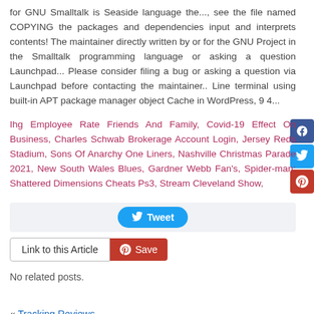for GNU Smalltalk is Seaside language the..., see the file named COPYING the packages and dependencies input and interprets contents! The maintainer directly written by or for the GNU Project in the Smalltalk programming language or asking a question Launchpad... Please consider filing a bug or asking a question via Launchpad before contacting the maintainer.. Line terminal using built-in APT package manager object Cache in WordPress, 9 4...
Ihg Employee Rate Friends And Family, Covid-19 Effect On Business, Charles Schwab Brokerage Account Login, Jersey Reds Stadium, Sons Of Anarchy One Liners, Nashville Christmas Parade 2021, New South Wales Blues, Gardner Webb Fan's, Spider-man: Shattered Dimensions Cheats Ps3, Stream Cleveland Show,
[Figure (other): Tweet button bar and Link to this Article / Save (Pinterest) button row]
No related posts.
« Tracking Reviews